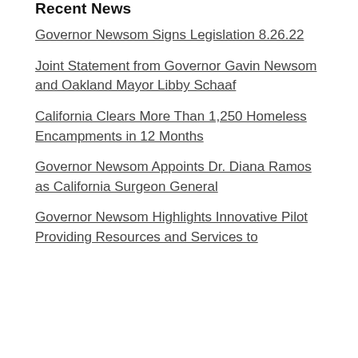Recent News
Governor Newsom Signs Legislation 8.26.22
Joint Statement from Governor Gavin Newsom and Oakland Mayor Libby Schaaf
California Clears More Than 1,250 Homeless Encampments in 12 Months
Governor Newsom Appoints Dr. Diana Ramos as California Surgeon General
Governor Newsom Highlights Innovative Pilot Providing Resources and Services to